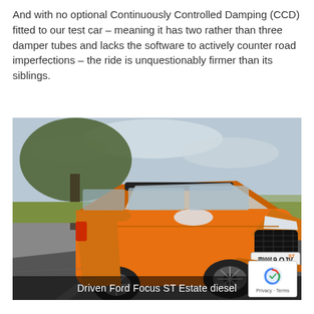And with no optional Continuously Controlled Damping (CCD) fitted to our test car – meaning it has two rather than three damper tubes and lacks the software to actively counter road imperfections – the ride is unquestionably firmer than its siblings.
[Figure (photo): Orange Ford Focus ST Estate diesel driving on a road, front three-quarter view, registration plate EW19 OJV, trees and countryside in background]
Driven Ford Focus ST Estate diesel